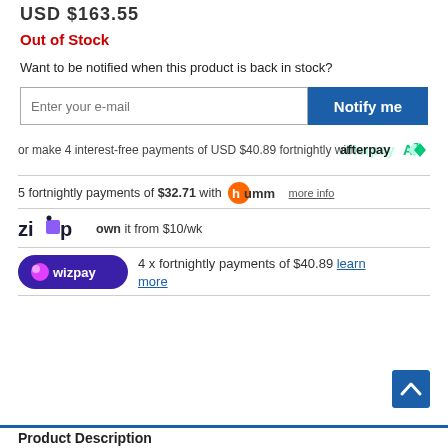Out of Stock
Want to be notified when this product is back in stock?
Enter your e-mail [input] Notify me [button]
or make 4 interest-free payments of USD $40.89 fortnightly with [afterpay logo]
5 fortnightly payments of $32.71 with [humm logo] more info
[zip logo] own it from $10/wk
[wizpay logo] 4 x fortnightly payments of $40.89 learn more
Product Description